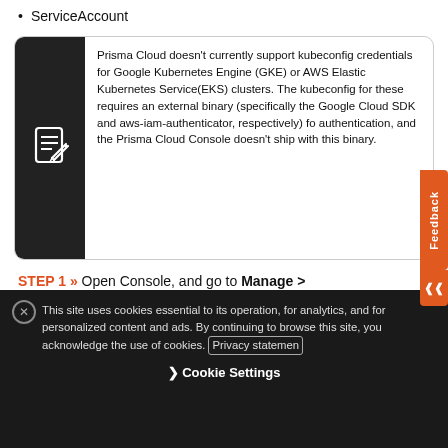ServiceAccount
Prisma Cloud doesn’t currently support kubeconfig credentials for Google Kubernetes Engine (GKE) or AWS Elastic Kubernetes Service(EKS) clusters. The kubeconfig for these requires an external binary (specifically the Google Cloud SDK and aws-iam-authenticator, respectively) for authentication, and the Prisma Cloud Console doesn’t ship with this binary.
STEP 1 » Open Console, and go to Manage > Authentication > Credentials Store.
This site uses cookies essential to its operation, for analytics, and for personalized content and ads. By continuing to browse this site, you acknowledge the use of cookies. Privacy statement
❯ Cookie Settings